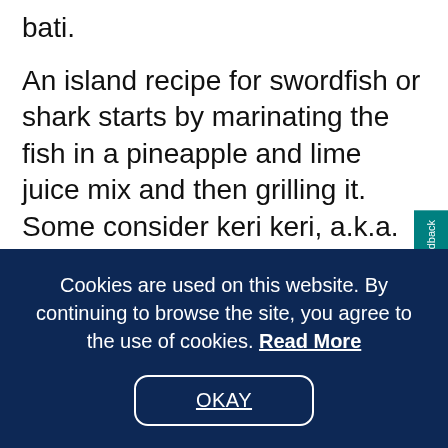bati.
An island recipe for swordfish or shark starts by marinating the fish in a pineapple and lime juice mix and then grilling it. Some consider keri keri, a.k.a. karikari, a delicacy. The shredded shark is boiled, flaked, and cooked with celery, pepper, and onions.
If you crave fried fish, look for pisca basa. Pisc
Cookies are used on this website. By continuing to browse the site, you agree to the use of cookies. Read More
OKAY